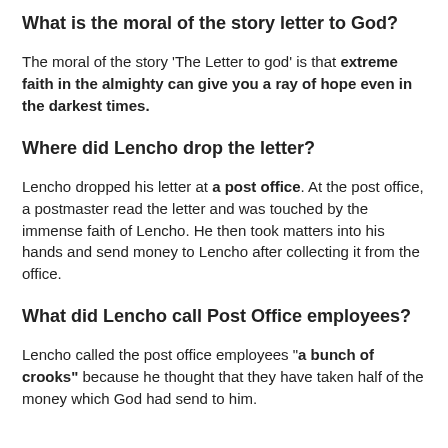What is the moral of the story letter to God?
The moral of the story 'The Letter to god' is that extreme faith in the almighty can give you a ray of hope even in the darkest times.
Where did Lencho drop the letter?
Lencho dropped his letter at a post office. At the post office, a postmaster read the letter and was touched by the immense faith of Lencho. He then took matters into his hands and send money to Lencho after collecting it from the office.
What did Lencho call Post Office employees?
Lencho called the post office employees "a bunch of crooks" because he thought that they have taken half of the money which God had send to him.